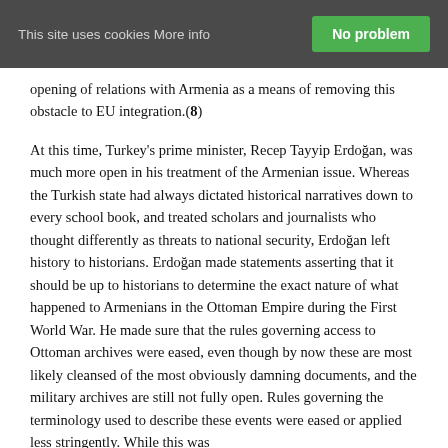This site uses cookies More info    No problem
opening of relations with Armenia as a means of removing this obstacle to EU integration.(8)
At this time, Turkey's prime minister, Recep Tayyip Erdoğan, was much more open in his treatment of the Armenian issue. Whereas the Turkish state had always dictated historical narratives down to every school book, and treated scholars and journalists who thought differently as threats to national security, Erdoğan left history to historians. Erdoğan made statements asserting that it should be up to historians to determine the exact nature of what happened to Armenians in the Ottoman Empire during the First World War. He made sure that the rules governing access to Ottoman archives were eased, even though by now these are most likely cleansed of the most obviously damning documents, and the military archives are still not fully open. Rules governing the terminology used to describe these events were eased or applied less stringently. While this was